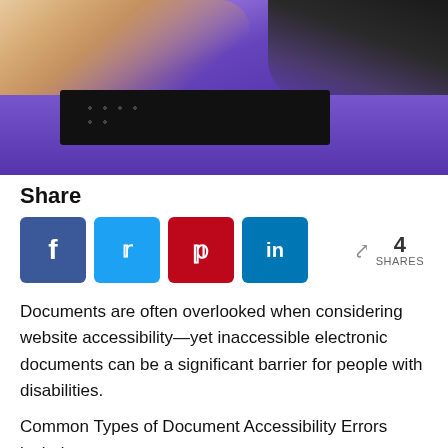[Figure (photo): Close-up photo of hands using a purple braille reader device with a keyboard in the upper right corner]
Share
[Figure (infographic): Social share buttons: Facebook (blue), Twitter (light blue), Pinterest (red), LinkedIn (blue), with a share count of 4 SHARES]
Documents are often overlooked when considering website accessibility—yet inaccessible electronic documents can be a significant barrier for people with disabilities.
Common Types of Document Accessibility Errors include:
Documents scanned to PDF format that contain no data for assistive technology devices
Documents that have missing or incomplete versions of Micro...